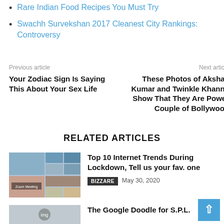Rare Indian Food Recipes You Must Try
Swachh Survekshan 2017 Cleanest City Rankings: Controversy
Previous article
Next article
Your Zodiac Sign Is Saying This About Your Sex Life
These Photos of Akshay Kumar and Twinkle Khanna Show That They Are Power Couple of Bollywood
RELATED ARTICLES
[Figure (photo): Thumbnail image for article about internet trends during lockdown showing a collage with people on video calls]
Top 10 Internet Trends During Lockdown, Tell us your fav. one
BIZZARE  May 30, 2020
The Google Doodle for S.P.L.